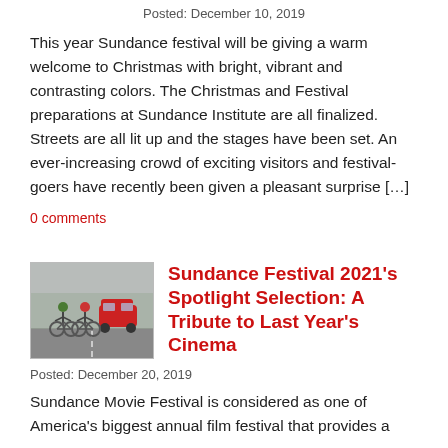Posted: December 10, 2019
This year Sundance festival will be giving a warm welcome to Christmas with bright, vibrant and contrasting colors. The Christmas and Festival preparations at Sundance Institute are all finalized. Streets are all lit up and the stages have been set. An ever-increasing crowd of exciting visitors and festival-goers have recently been given a pleasant surprise […]
0 comments
[Figure (photo): Two cyclists riding on a road with a red car in the background, foggy/misty conditions]
Sundance Festival 2021's Spotlight Selection: A Tribute to Last Year's Cinema
Posted: December 20, 2019
Sundance Movie Festival is considered as one of America's biggest annual film festival that provides a